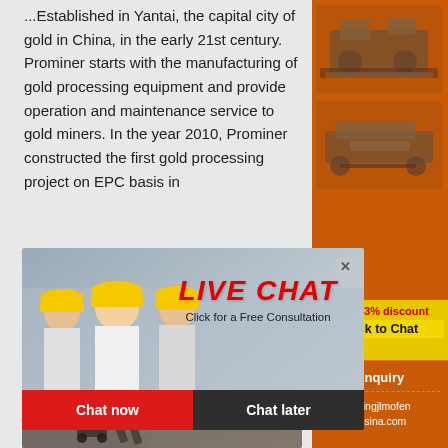...Established in Yantai, the capital city of gold in China, in the early 21st century. Prominer starts with the manufacturing of gold processing equipment and provide operation and maintenance service to gold miners. In the year 2010, Prominer constructed the first gold processing project on EPC basis in
[Figure (photo): Live Chat popup overlay showing three workers in yellow hard hats, with red LIVE CHAT heading, 'Click for a Free Consultation' text, and Chat now / Chat later buttons]
[Figure (photo): Right side advertisement banner showing mining machinery equipment in orange background, with 'Enjoy 3% discount / Click to Chat' yellow bar and 'Enquiry / limingjlmofen@sina.com' section]
[Figure (photo): Mining site photo showing conveyor belt machinery and piles of gravel/ore material]